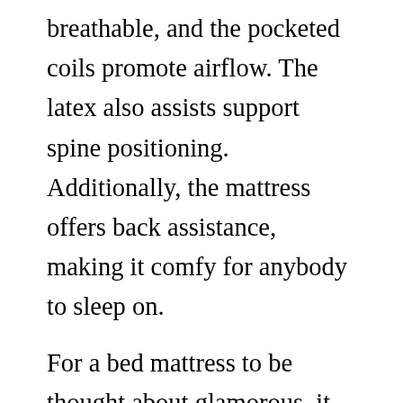breathable, and the pocketed coils promote airflow. The latex also assists support spine positioning. Additionally, the mattress offers back assistance, making it comfy for anybody to sleep on.

For a bed mattress to be thought about glamorous, it must be comfortable. PlushBeds has a Comfort Exchange program, which enables consumers to return their bed mattress after 30 nights. To exchange the mattress, consumers need to unzip it and put the brand-new latex layer on top of the old one. Then, the old one